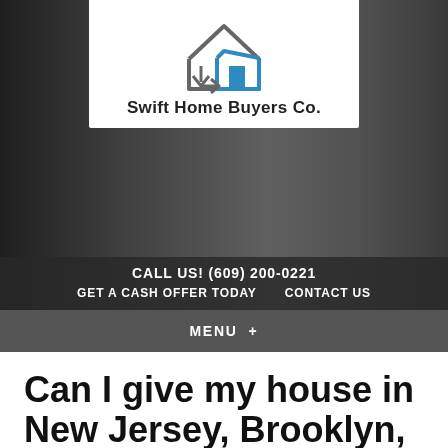[Figure (logo): Swift Home Buyers Co. logo with house icon (gray outline house with blue arrow and door) and company name in bold black text]
CALL US! (609) 200-0221  GET A CASH OFFER TODAY   CONTACT US
MENU +
Can I give my house in New Jersey, Brooklyn, Queens, Long Island back to the bank without